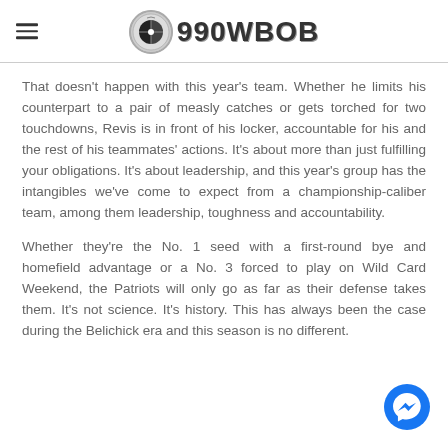990WBOB
That doesn't happen with this year's team. Whether he limits his counterpart to a pair of measly catches or gets torched for two touchdowns, Revis is in front of his locker, accountable for his and the rest of his teammates' actions. It's about more than just fulfilling your obligations. It's about leadership, and this year's group has the intangibles we've come to expect from a championship-caliber team, among them leadership, toughness and accountability.
Whether they're the No. 1 seed with a first-round bye and homefield advantage or a No. 3 forced to play on Wild Card Weekend, the Patriots will only go as far as their defense takes them. It's not science. It's history. This has always been the case during the Belichick era and this season is no different.
[Figure (logo): Facebook Messenger button icon, blue circle with white lightning bolt chat symbol]